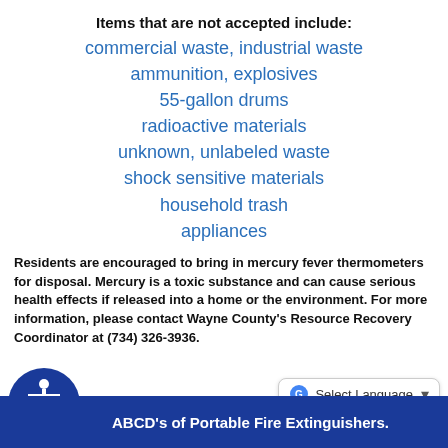Items that are not accepted include:
commercial waste, industrial waste
ammunition, explosives
55-gallon drums
radioactive materials
unknown, unlabeled waste
shock sensitive materials
household trash
appliances
Residents are encouraged to bring in mercury fever thermometers for disposal. Mercury is a toxic substance and can cause serious health effects if released into a home or the environment. For more information, please contact Wayne County's Resource Recovery Coordinator at (734) 326-3936.
ABCD's of Portable Fire Extinguishers.